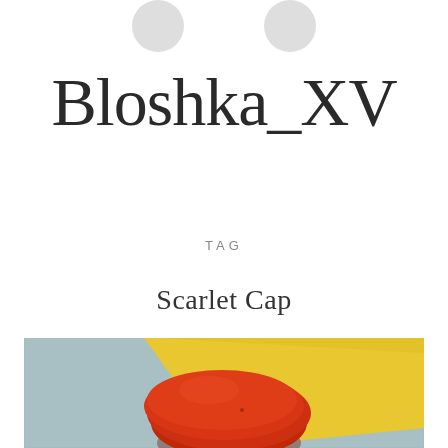[Figure (other): Two small grey circular icon buttons partially visible at top]
Bloshka_XV
TAG
Scarlet Cap
[Figure (illustration): Painting showing a red mushroom cap on a yellow diagonal band against a light blue/grey background]